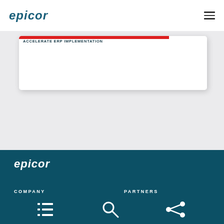Epicor
[Figure (screenshot): Partial view of a card/widget with a red top bar and truncated dark teal text heading, on a light grey background]
[Figure (logo): Epicor logo in white on dark teal footer background]
COMPANY   PARTNERS
[Figure (infographic): Footer icons: list/menu icon, search icon, share icon on dark teal background]